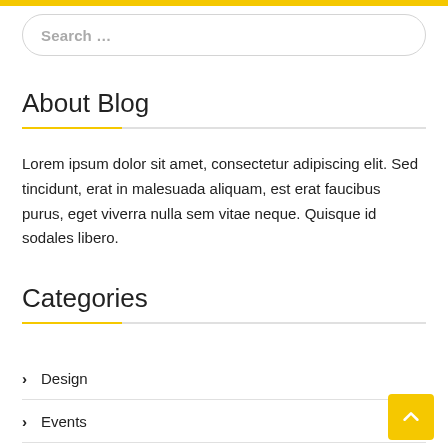Search ...
About Blog
Lorem ipsum dolor sit amet, consectetur adipiscing elit. Sed tincidunt, erat in malesuada aliquam, est erat faucibus purus, eget viverra nulla sem vitae neque. Quisque id sodales libero.
Categories
Design
Events